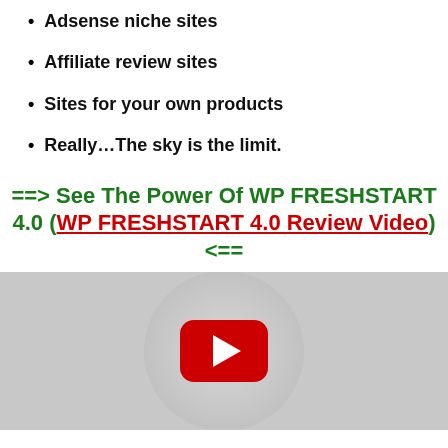Adsense niche sites
Affiliate review sites
Sites for your own products
Really…The sky is the limit.
==> See The Power Of WP FRESHSTART 4.0 (WP FRESHSTART 4.0 Review Video)<==
[Figure (screenshot): YouTube video thumbnail placeholder showing a red YouTube play button on a gray background]